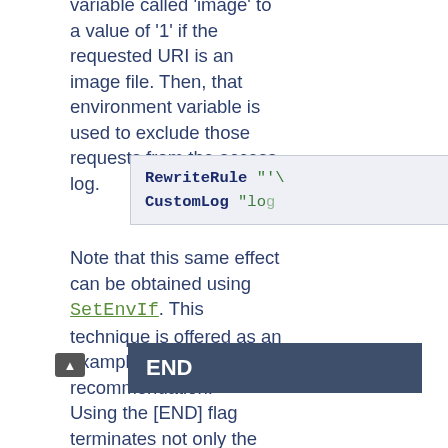variable called 'image' to a value of '1' if the requested URI is an image file. Then, that environment variable is used to exclude those requests from the access log.
[Figure (screenshot): Code block showing: RewriteRule "'...  CustomLog "log...]
Note that this same effect can be obtained using SetEnvIf. This technique is offered as an example, not as a recommendation.
END
Using the [END] flag terminates not only the current round of rewrite processing (like [L]) but also prevents any subsequent rewrite processing...